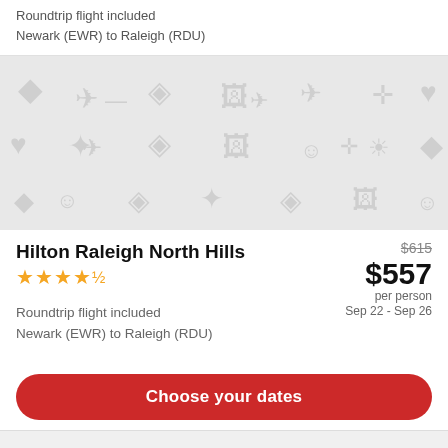Roundtrip flight included
Newark (EWR) to Raleigh (RDU)
[Figure (illustration): Gray placeholder image with travel/lifestyle icons pattern]
Hilton Raleigh North Hills
$615 $557 per person Sep 22 - Sep 26
★★★★½
Roundtrip flight included
Newark (EWR) to Raleigh (RDU)
Choose your dates